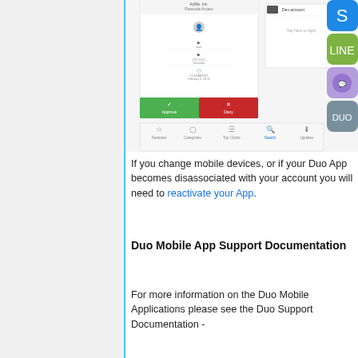[Figure (screenshot): Screenshot of Duo Mobile app showing an authentication push request with Approve (green) and Deny (red) buttons, alongside a Dev account panel and App Store search bar with navigation tabs (Featured, Categories, Top Charts, Search, Updates). App icons (Skype-like, LINE, and others) visible on the right side.]
If you change mobile devices, or if your Duo App becomes disassociated with your account you will need to reactivate your App.
Duo Mobile App Support Documentation
For more information on the Duo Mobile Applications please see the Duo Support Documentation -